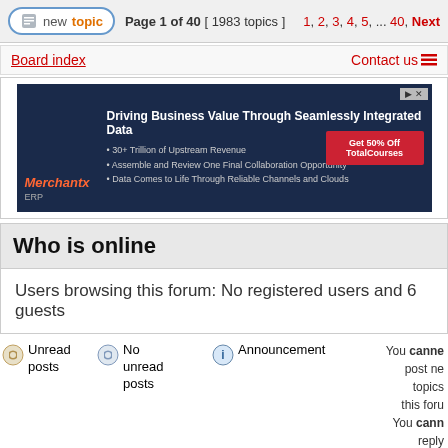Page 1 of 40 [ 1983 topics ]  1, 2, 3, 4, 5, ... 40, Next
Board index   Contact us
[Figure (screenshot): Advertisement banner: Merchantx - Driving Business Value Through Seamlessly Integrated Data]
Who is online
Users browsing this forum: No registered users and 6 guests
Unread posts
No unread posts
Announcement
You cannot post new topics this forum You cannot reply
Unread posts [
No unread posts [
Sticky